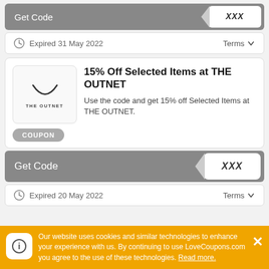[Figure (screenshot): Get Code button with XXX code reveal - top]
Expired 31 May 2022
Terms
[Figure (logo): THE OUTNET logo with smile arc]
15% Off Selected Items at THE OUTNET
Use the code and get 15% off Selected Items at THE OUTNET.
COUPON
[Figure (screenshot): Get Code button with XXX code reveal - bottom]
Expired 20 May 2022
Terms
Our website uses cookies and similar technologies to enhance your experience with us. By continuing to use LoveCoupons.com you agree to the use of these technologies. Read more.